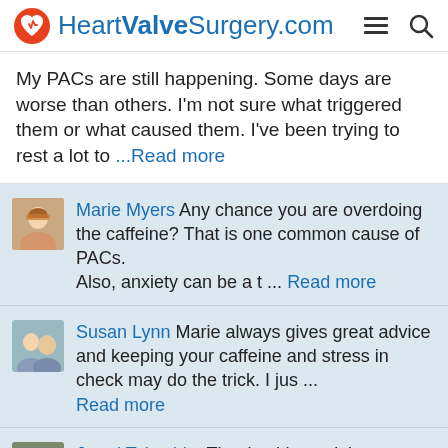HeartValveSurgery.com
My PACs are still happening. Some days are worse than others. I'm not sure what triggered them or what caused them. I've been trying to rest a lot to ...Read more
Marie Myers  Any chance you are overdoing the caffeine? That is one common cause of PACs. Also, anxiety can be a t ... Read more
Susan Lynn  Marie always gives great advice and keeping your caffeine and stress in check may do the trick. I jus ... Read more
Jared Takeshita  Thanks. I haven't been drinking any caffeine and I don't drink alcohol, so those aren't triggers. I ... Read